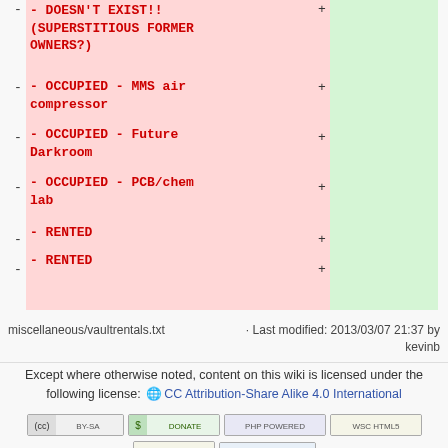- DOESN'T EXIST!! (SUPERSTITIOUS FORMER OWNERS?)
- OCCUPIED - MMS air compressor
- OCCUPIED - Future Darkroom
- OCCUPIED - PCB/chem lab
- RENTED
- RENTED
miscellaneous/vaultrentals.txt · Last modified: 2013/03/07 21:37 by kevinb
Except where otherwise noted, content on this wiki is licensed under the following license: CC Attribution-Share Alike 4.0 International